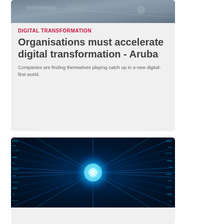[Figure (photo): Partial view of a technology-themed photo at the top of a card]
DIGITAL TRANSFORMATION
Organisations must accelerate digital transformation - Aruba
Companies are finding themselves playing catch up in a new digital-first world.
[Figure (photo): Digital data tunnel with blue glowing light in the center, representing digital transformation and high-speed data]